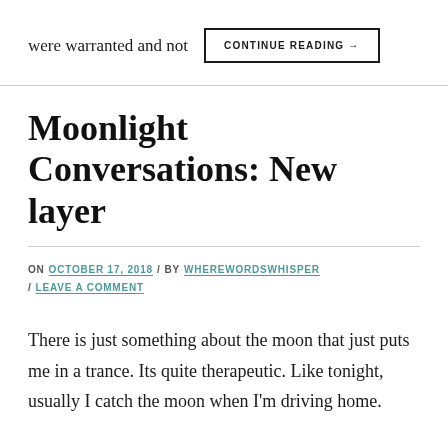were warranted and not
CONTINUE READING →
Moonlight Conversations: New layer
ON OCTOBER 17, 2018 / BY WHEREWORDSWHISPER / LEAVE A COMMENT
There is just something about the moon that just puts me in a trance. Its quite therapeutic. Like tonight, usually I catch the moon when I'm driving home.